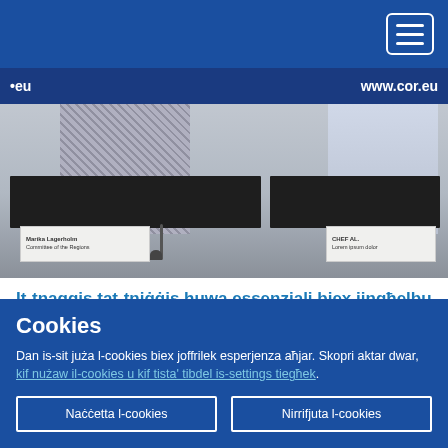[Figure (photo): Conference photo showing two people seated at a dark table with nameplates, with a banner showing www.cor.eu in the background]
It-tnaqqis tat-tniġġis huwa essenzjali biex jingħelbu l-inugwaljanzi fis-settur tas-saħħa fl-UE kollha
29.04.2022
Cookies
Dan is-sit juża l-cookies biex joffrilek esperjenza aħjar. Skopri aktar dwar, kif nużaw il-cookies u kif tista' tibdel is-settings tiegħek.
Naċċetta l-cookies
Nirrifjuta l-cookies